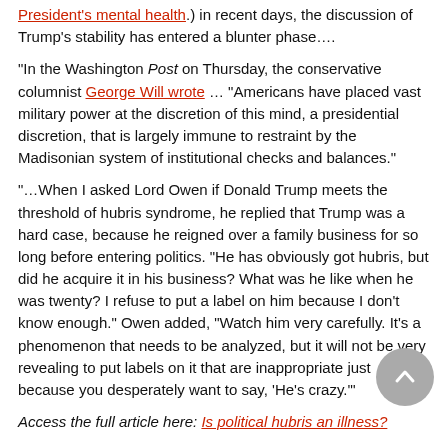President's mental health.) in recent days, the discussion of Trump's stability has entered a blunter phase….
"In the Washington Post on Thursday, the conservative columnist George Will wrote … "Americans have placed vast military power at the discretion of this mind, a presidential discretion, that is largely immune to restraint by the Madisonian system of institutional checks and balances."
"…When I asked Lord Owen if Donald Trump meets the threshold of hubris syndrome, he replied that Trump was a hard case, because he reigned over a family business for so long before entering politics. "He has obviously got hubris, but did he acquire it in his business? What was he like when he was twenty? I refuse to put a label on him because I don't know enough." Owen added, "Watch him very carefully. It's a phenomenon that needs to be analyzed, but it will not be very revealing to put labels on it that are inappropriate just because you desperately want to say, 'He's crazy.'"
Access the full article here: Is political hubris an illness?